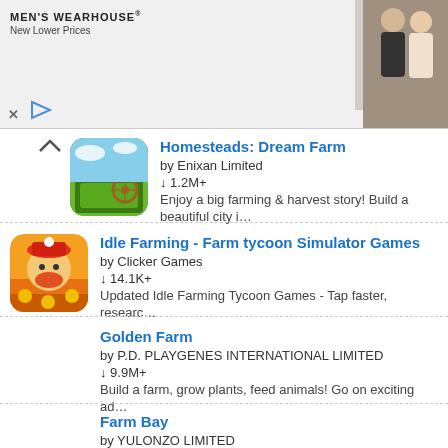[Figure (screenshot): Men's Wearhouse advertisement banner showing suits and a couple, with price $69.99]
Homesteads: Dream Farm
by Enixan Limited
↓ 1.2M+
Enjoy a big farming & harvest story! Build a beautiful city i…
Idle Farming - Farm tycoon Simulator Games
by Clicker Games
↓ 14.1K+
Updated Idle Farming Tycoon Games - Tap faster, researc…
Golden Farm
by P.D. PLAYGENES INTERNATIONAL LIMITED
↓ 9.9M+
Build a farm, grow plants, feed animals! Go on exciting ad…
Farm Bay
by YULONZO LIMITED
↓ 2.1M+
Welcome to Farm Bay! Enjoy the exciting adventures in th…